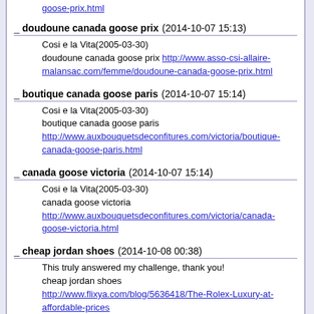goose-prix.html
_ doudoune canada goose prix (2014-10-07 15:13)
Cosi e la Vita(2005-03-30)
doudoune canada goose prix http://www.asso-csi-allaire-malansac.com/femme/doudoune-canada-goose-prix.html
_ boutique canada goose paris (2014-10-07 15:14)
Cosi e la Vita(2005-03-30)
boutique canada goose paris http://www.auxbouquetsdeconfitures.com/victoria/boutique-canada-goose-paris.html
_ canada goose victoria (2014-10-07 15:14)
Cosi e la Vita(2005-03-30)
canada goose victoria http://www.auxbouquetsdeconfitures.com/victoria/canada-goose-victoria.html
_ cheap jordan shoes (2014-10-08 00:38)
This truly answered my challenge, thank you!
cheap jordan shoes http://www.flixya.com/blog/5636418/The-Rolex-Luxury-at-affordable-prices